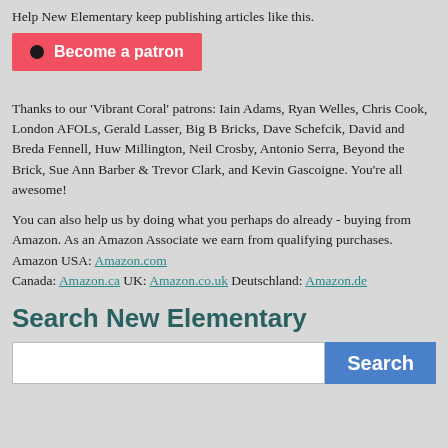Help New Elementary keep publishing articles like this.
[Figure (other): Red Patreon-style button with circle icon and text 'Become a patron']
Thanks to our 'Vibrant Coral' patrons: Iain Adams, Ryan Welles, Chris Cook, London AFOLs, Gerald Lasser, Big B Bricks, Dave Schefcik, David and Breda Fennell, Huw Millington, Neil Crosby, Antonio Serra, Beyond the Brick, Sue Ann Barber & Trevor Clark, and Kevin Gascoigne. You're all awesome!
You can also help us by doing what you perhaps do already - buying from Amazon. As an Amazon Associate we earn from qualifying purchases. Amazon USA: Amazon.com Canada: Amazon.ca UK: Amazon.co.uk Deutschland: Amazon.de
Search New Elementary
[Figure (other): Search input box with blue Search button]